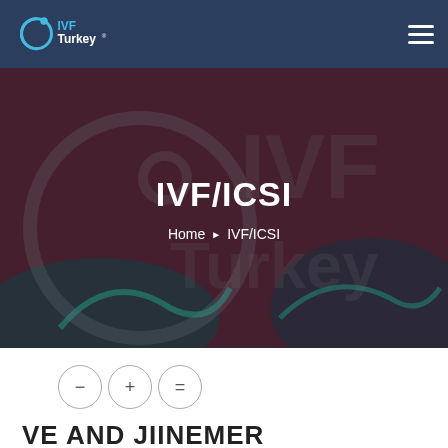[Figure (logo): IVF Turkey logo with circular icon and text]
[Figure (photo): Background hero image showing microscopic fertilization imagery with IVF Turkey watermark logo overlay, dark blue tinted overlay]
IVF/ICSI
Home ▶ IVF/ICSI
[Figure (other): Font size control buttons: minus, plus, equals]
VE AND JIINEMER